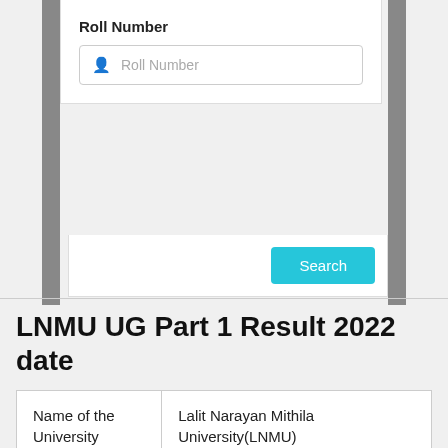Roll Number
[Figure (screenshot): A web form input field labeled 'Roll Number' with a person icon placeholder and a cyan 'Search' button]
LNMU UG Part 1 Result 2022 date
| Name of the University | Lalit Narayan Mithila University(LNMU) |
| location | Darbhanga, Bihar |
| Exam date | 27 August to 16 Sep 2022 |